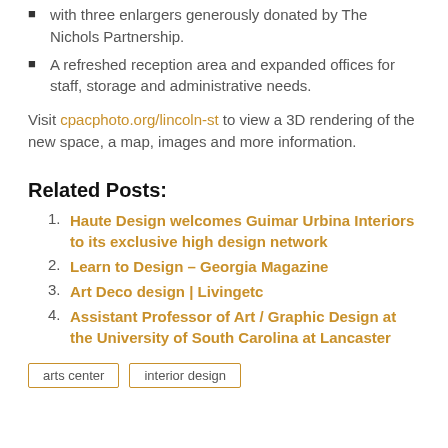with three enlargers generously donated by The Nichols Partnership.
A refreshed reception area and expanded offices for staff, storage and administrative needs.
Visit cpacphoto.org/lincoln-st to view a 3D rendering of the new space, a map, images and more information.
Related Posts:
Haute Design welcomes Guimar Urbina Interiors to its exclusive high design network
Learn to Design – Georgia Magazine
Art Deco design | Livingetc
Assistant Professor of Art / Graphic Design at the University of South Carolina at Lancaster
arts center   interior design